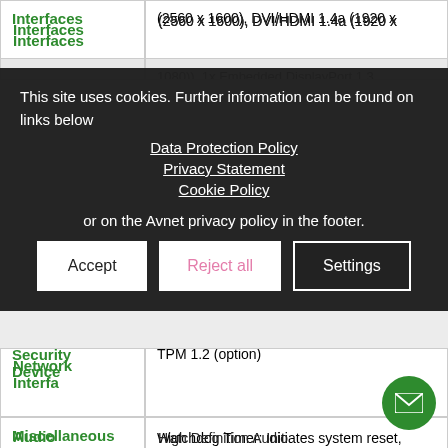| Feature | Description |
| --- | --- |
| Interfaces | (2560 x 1600), DVI/HDMI 1.4a (1920 x 1080)), 1x Embedded DisplayPort 1.3, LVDS 18/24-bit, single-channel, 1366 x 768 (combined with Embedded DisplayPort) |
| Network Interface |  |
| Audio Interface | High Definition Audio |
| Security Device | TPM 1.2 (option) |
| Miscellaneous | Watchdog Timer: Initiates system reset, programmable RTC battery: external, System Monitoring: voltage, temperature, CPU fan, system fan |
[Figure (screenshot): Cookie consent overlay with text 'This site uses cookies. Further information can be found on links below', links to Data Protection Policy, Privacy Statement, Cookie Policy, text 'or on the Avnet privacy policy in the footer.', and three buttons: Accept, Reject all, Settings]